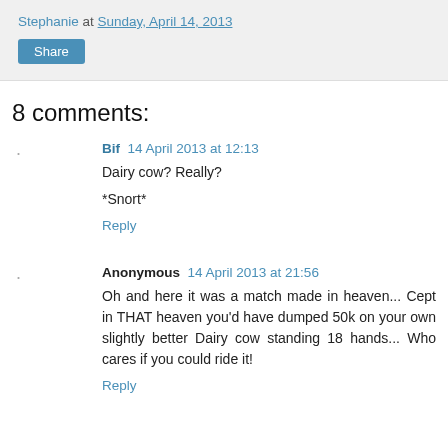Stephanie at Sunday, April 14, 2013
Share
8 comments:
Bif  14 April 2013 at 12:13
Dairy cow? Really?

*Snort*
Reply
Anonymous  14 April 2013 at 21:56
Oh and here it was a match made in heaven... Cept in THAT heaven you'd have dumped 50k on your own slightly better Dairy cow standing 18 hands... Who cares if you could ride it!
Reply